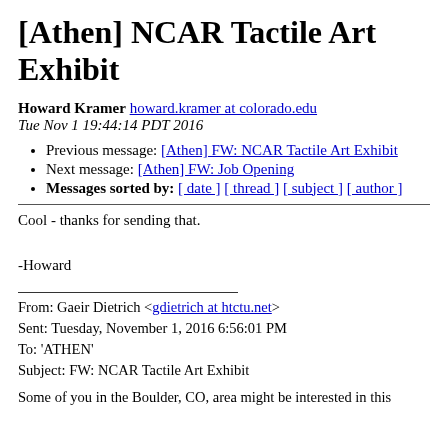[Athen] NCAR Tactile Art Exhibit
Howard Kramer howard.kramer at colorado.edu
Tue Nov 1 19:44:14 PDT 2016
Previous message: [Athen] FW: NCAR Tactile Art Exhibit
Next message: [Athen] FW: Job Opening
Messages sorted by: [ date ] [ thread ] [ subject ] [ author ]
Cool - thanks for sending that.
-Howard
From: Gaeir Dietrich <gdietrich at htctu.net>
Sent: Tuesday, November 1, 2016 6:56:01 PM
To: 'ATHEN'
Subject: FW: NCAR Tactile Art Exhibit
Some of you in the Boulder, CO, area might be interested in this